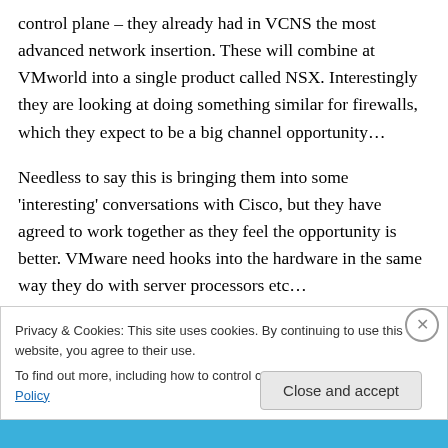control plane – they already had in VCNS the most advanced network insertion. These will combine at VMworld into a single product called NSX. Interestingly they are looking at doing something similar for firewalls, which they expect to be a big channel opportunity…
Needless to say this is bringing them into some 'interesting' conversations with Cisco, but they have agreed to work together as they feel the opportunity is better. VMware need hooks into the hardware in the same way they do with server processors etc…
Privacy & Cookies: This site uses cookies. By continuing to use this website, you agree to their use.
To find out more, including how to control cookies, see here: Cookie Policy
Close and accept